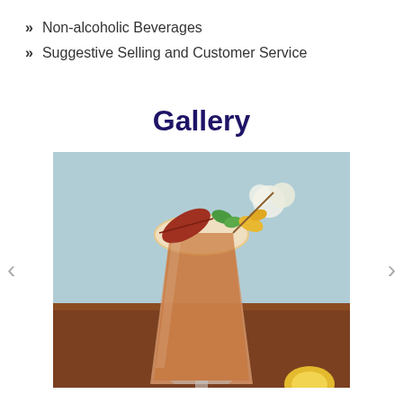Non-alcoholic Beverages
Suggestive Selling and Customer Service
Gallery
[Figure (photo): A decorative non-alcoholic cocktail in a stemmed glass garnished with red autumn leaves, mint, yellow flowers, and white blossoms, served on a wooden surface with a blurred light background. A lemon is partially visible in the lower right.]